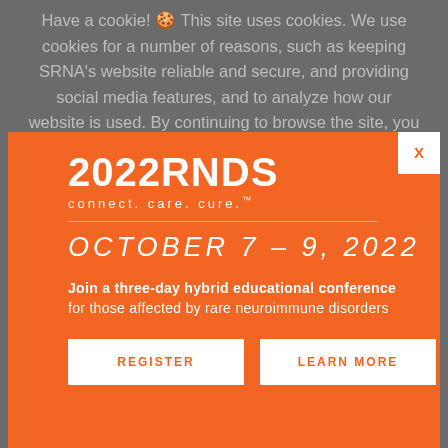Have a cookie! 🍪 This site uses cookies. We use cookies for a number of reasons, such as keeping SRNA's website reliable and secure, and providing social media features, and to analyze how our website is used. By continuing to browse the site, you are
[Figure (infographic): 2022 RNDS conference modal overlay popup with orange background. Shows '2022RNDS connect. care. cure.™' branding, date 'OCTOBER 7 - 9, 2022', description 'Join a three-day hybrid educational conference for those affected by rare neuroimmune disorders', and two white buttons: REGISTER and LEARN MORE. Has a white X close button in top right corner.]
psychotherapeutic interventions. With appropriate recognition and treatment of TM depression, complete symptom remission is standard.